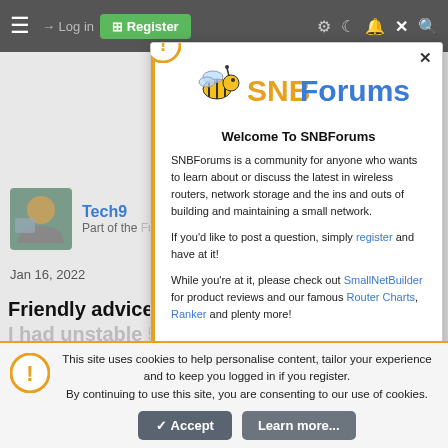[Figure (screenshot): SNBForums website screenshot showing navigation bar with hamburger menu, Log in and Register buttons, and dark/light mode icons]
[Figure (screenshot): Background forum post showing Tech9 user avatar, username, 'Part of the Furniture' role, Jan 16 2022 date, and post title about friendly advice on AC86U firmware]
[Figure (screenshot): SNBForums welcome modal dialog with bee logo, welcome text, registration prompt, and links to SmallNetBuilder, Router Charts, and Ranker]
Welcome To SNBForums
SNBForums is a community for anyone who wants to learn about or discuss the latest in wireless routers, network storage and the ins and outs of building and maintaining a small network.
If you'd like to post a question, simply register and have at it!
While you're at it, please check out SmallNetBuilder for product reviews and our famous Router Charts, Ranker and plenty more!
This site uses cookies to help personalise content, tailor your experience and to keep you logged in if you register. By continuing to use this site, you are consenting to our use of cookies.